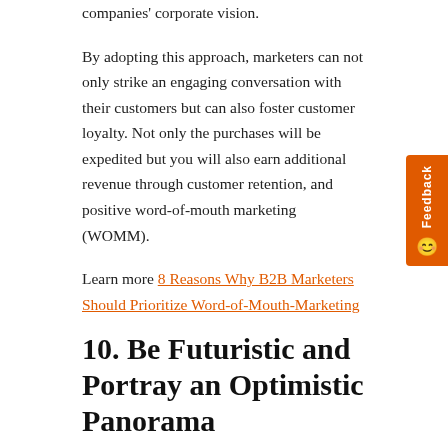companies' corporate vision.
By adopting this approach, marketers can not only strike an engaging conversation with their customers but can also foster customer loyalty. Not only the purchases will be expedited but you will also earn additional revenue through customer retention, and positive word-of-mouth marketing (WOMM).
Learn more 8 Reasons Why B2B Marketers Should Prioritize Word-of-Mouth-Marketing
10. Be Futuristic and Portray an Optimistic Panorama
To scale your email marketing during coronavirus, you need to acknowledge the current situation. Allow your customers to picture you as a brand focused on the well-being of the entire business fraternity, and customers at large. Show your customers hope and portray an optimistic outlook for the new normal that we are heading towards.